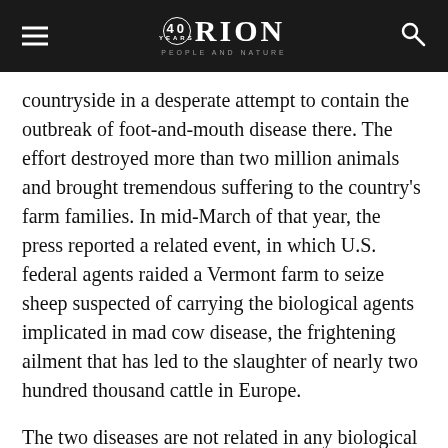ORION — PEOPLE AND NATURE (40 years)
countryside in a desperate attempt to contain the outbreak of foot-and-mouth disease there. The effort destroyed more than two million animals and brought tremendous suffering to the country's farm families. In mid-March of that year, the press reported a related event, in which U.S. federal agents raided a Vermont farm to seize sheep suspected of carrying the biological agents implicated in mad cow disease, the frightening ailment that has led to the slaughter of nearly two hundred thousand cattle in Europe.
The two diseases are not related in any biological sense, of course. Foot-and-mouth is caused by a virus and is not thought to be transmissible to humans, while mad cow is caused by a prion — a poorly understood snip of protein — and is